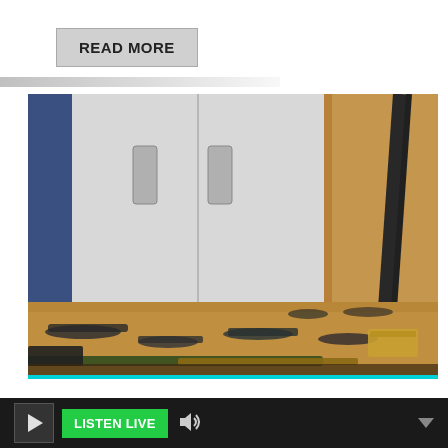READ MORE
[Figure (photo): Photograph of multiple firearms and weapons laid out on a brown table in front of white metal cabinets, with a dark rifle visible on the right side. Various handguns, rifles, and ammunition boxes are spread across the table surface.]
LISTEN LIVE